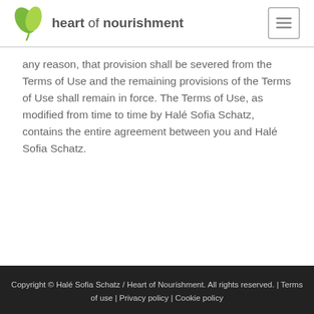heart of nourishment
any reason, that provision shall be severed from the Terms of Use and the remaining provisions of the Terms of Use shall remain in force. The Terms of Use, as modified from time to time by Halé Sofia Schatz, contains the entire agreement between you and Halé Sofia Schatz.
Copyright © Halé Sofia Schatz / Heart of Nourishment. All rights reserved. | Terms of use | Privacy policy | Cookie policy